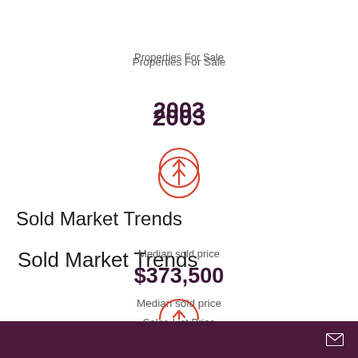Properties For Sale
2003
[Figure (infographic): Up arrow in red circle indicating increase]
Sold Market Trends
Median sold price
$373,500
[Figure (infographic): Up arrow in red circle indicating increase]
Sales-List Price